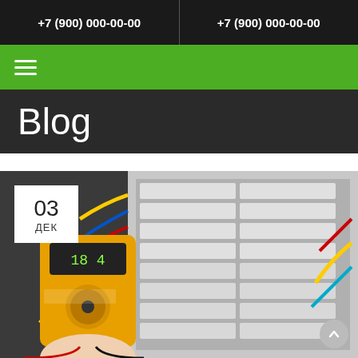+7 (900) 000-00-00  |  +7 (900) 000-00-00
Blog
[Figure (photo): Electrician holding a digital multimeter measuring voltage in a breaker panel with colorful wiring. Date badge shows 03 ДЕК in top-left corner.]